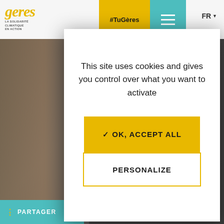[Figure (screenshot): Geres website screenshot showing navigation bar with Geres logo (La Solidarité Climatique En Action), #TuGères button in yellow, teal hamburger menu, FR language selector, blurred background of stacked books, and a cookie consent modal dialog in the foreground. Bottom shows PARTAGER button in teal and partial text 'MONGOLIE'.]
This site uses cookies and gives you control over what you want to activate
✓ OK, ACCEPT ALL
PERSONALIZE